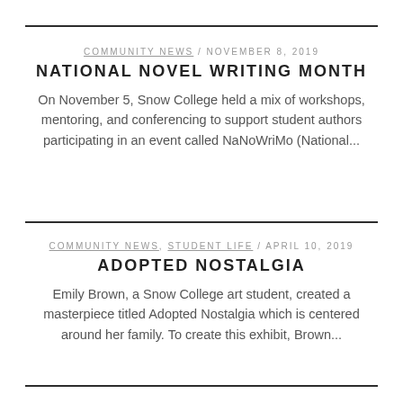COMMUNITY NEWS / NOVEMBER 8, 2019
NATIONAL NOVEL WRITING MONTH
On November 5, Snow College held a mix of workshops, mentoring, and conferencing to support student authors participating in an event called NaNoWriMo (National...
COMMUNITY NEWS, STUDENT LIFE / APRIL 10, 2019
ADOPTED NOSTALGIA
Emily Brown, a Snow College art student, created a masterpiece titled Adopted Nostalgia which is centered around her family. To create this exhibit, Brown...